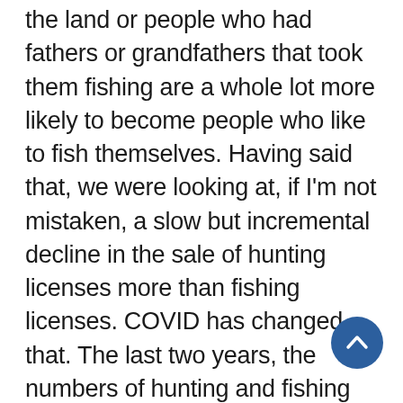the land or people who had fathers or grandfathers that took them fishing are a whole lot more likely to become people who like to fish themselves. Having said that, we were looking at, if I'm not mistaken, a slow but incremental decline in the sale of hunting licenses more than fishing licenses. COVID has changed that. The last two years, the numbers of hunting and fishing licenses sold has gone up 5% annually. I think two things are going on. One is that people are going stir-crazy and want something to do outside. And a lot of people who fish and a lot of people who hunt are like I am. I do like to catch a fish. But what's important is that I'm outside. I have a reason to be outside. I'm